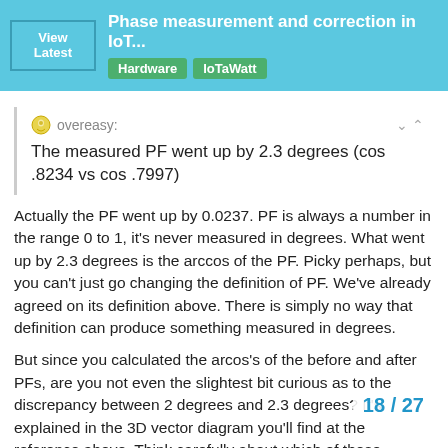Phase measurement and correction in IoT... Hardware IoTaWatt
overeasy:
The measured PF went up by 2.3 degrees (cos .8234 vs cos .7997)
Actually the PF went up by 0.0237. PF is always a number in the range 0 to 1, it's never measured in degrees. What went up by 2.3 degrees is the arccos of the PF. Picky perhaps, but you can't just go changing the definition of PF. We've already agreed on its definition above. There is simply no way that definition can produce something measured in degrees.
But since you calculated the arcos's of the before and after PFs, are you not even the slightest bit curious as to the discrepancy between 2 degrees and 2.3 degrees? It's explained in the 3D vector diagram you'll find at the reference above. Think carefully about which of those vectors you're chang deliberately introduced your 2 degree phas
18 / 27